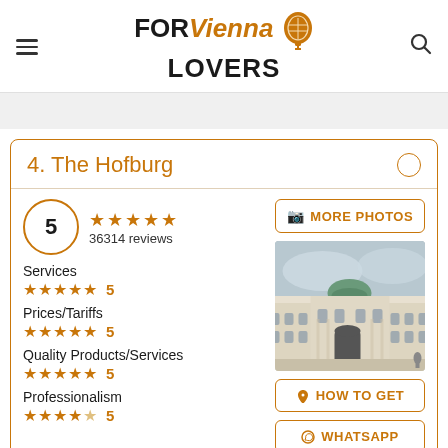FOR Vienna LOVERS
4. The Hofburg
5 stars, 36314 reviews
Services ★★★★★ 5
Prices/Tariffs ★★★★★ 5
Quality Products/Services ★★★★★ 5
Professionalism ★★★★★ 5
[Figure (photo): Photo of The Hofburg palace building with green dome]
MORE PHOTOS | HOW TO GET | WHATSAPP